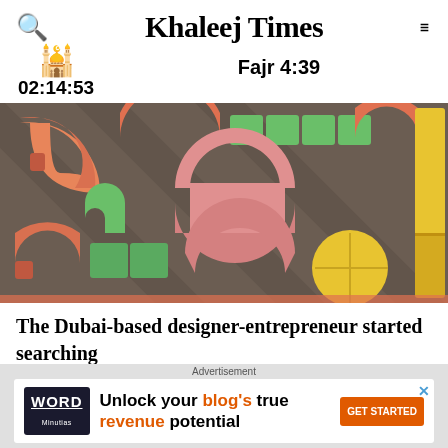Khaleej Times — search icon, hamburger menu, mosque icon, Fajr 4:39, 02:14:53
[Figure (photo): Colorful geometric wooden toy blocks and shapes arranged on a dark grey surface, including arches, circles, rectangles and curved pieces in orange, green, pink, yellow colors with dramatic shadows]
The Dubai-based designer-entrepreneur started searching
Advertisement — Unlock your blog's true revenue potential — GET STARTED (WordMinutes ad)